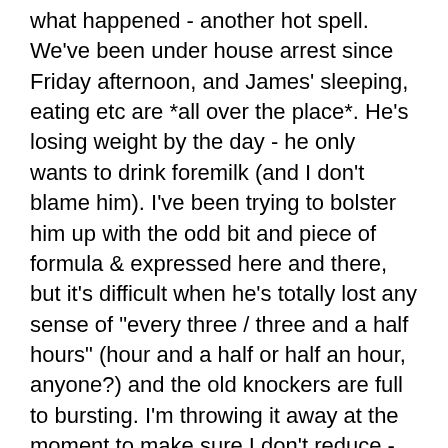what happened - another hot spell. We've been under house arrest since Friday afternoon, and James' sleeping, eating etc are *all over the place*. He's losing weight by the day - he only wants to drink foremilk (and I don't blame him). I've been trying to bolster him up with the odd bit and piece of formula & expressed here and there, but it's difficult when he's totally lost any sense of "every three / three and a half hours" (hour and a half or half an hour, anyone?) and the old knockers are full to bursting. I'm throwing it away at the moment to make sure I don't reduce - can you imagine having less milk when this hot spell breaks? The kid is going to be hoovering food up like some kind of suckage monster.
And I know it's alright, and I know he's perfectly happy but I'm a Mother, am I not. therefore *any* idea of my Lovely not eating or dear god, losing